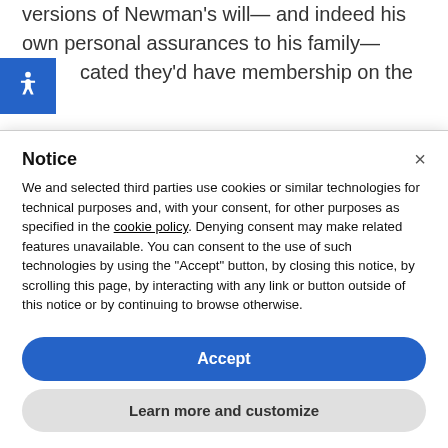versions of Newman's will— and indeed his own personal assurances to his family— cated they'd have membership on the
Notice
We and selected third parties use cookies or similar technologies for technical purposes and, with your consent, for other purposes as specified in the cookie policy. Denying consent may make related features unavailable. You can consent to the use of such technologies by using the "Accept" button, by closing this notice, by scrolling this page, by interacting with any link or button outside of this notice or by continuing to browse otherwise.
Accept
Learn more and customize